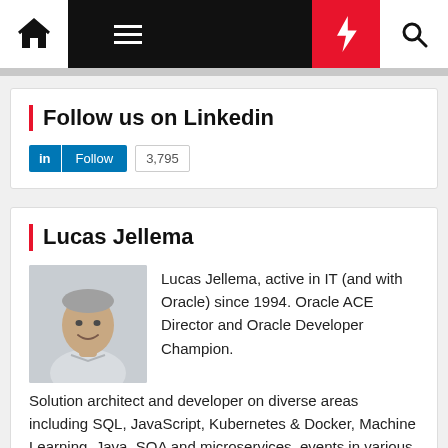Navigation bar with home, menu, lightning, search icons
Follow us on Linkedin
in Follow 3,795
Lucas Jellema
[Figure (photo): Headshot photo of Lucas Jellema, a middle-aged man with grey hair, smiling, wearing a light shirt]
Lucas Jellema, active in IT (and with Oracle) since 1994. Oracle ACE Director and Oracle Developer Champion. Solution architect and developer on diverse areas including SQL, JavaScript, Kubernetes & Docker, Machine Learning, Java, SOA and microservices, events in various shapes and forms and many other things. Author of the Oracle Press book Oracle SOA Suite 12c Handbook. Frequent presenter on user